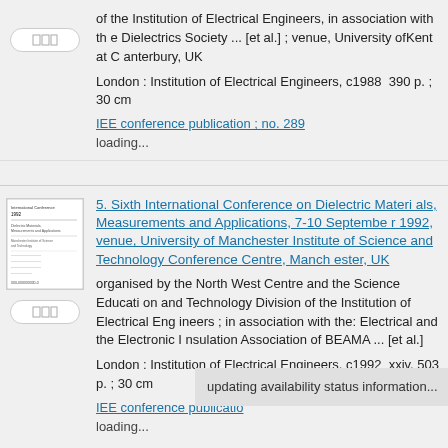of the Institution of Electrical Engineers, in association with the Dielectrics Society ... [et al.] ; venue, University ofKent at Canterbury, UK
London : Institution of Electrical Engineers, c1988  390 p. ; 30 cm
IEE conference publication ; no. 289
loading...
[Figure (illustration): Thumbnail image of a document/book cover]
5. Sixth International Conference on Dielectric Materials, Measurements and Applications, 7-10 September 1992, venue, University of Manchester Institute of Science and Technology Conference Centre, Manchester, UK
organised by the North West Centre and the Science Education and Technology Division of the Institution of Electrical Engineers ; in association with the: Electrical and the Electronic Insulation Association of BEAMA ... [et al.]
London : Institution of Electrical Engineers, c1992  xxiv, 503 p. ; 30 cm
IEE conference publicatio
loading...
updating availability status information...